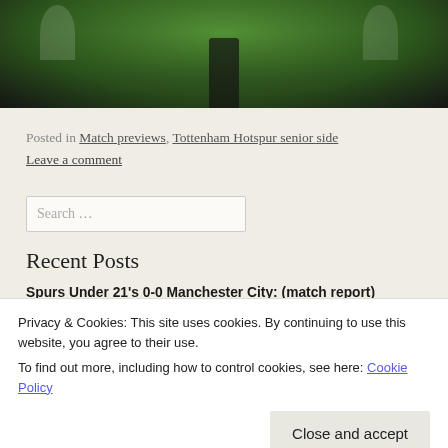[Figure (photo): Cropped photo of a football/soccer scene on a green pitch, showing a player in dark kit from behind]
Posted in Match previews, Tottenham Hotspur senior side
Leave a comment
Search …
Recent Posts
Spurs Under 21's 0-0 Manchester City: (match report)
Spurs Under 18's 1-2 West Bromwich Albion: (match report)
Spurs Under 21's versus Manchester City: (match preview)
Privacy & Cookies: This site uses cookies. By continuing to use this website, you agree to their use. To find out more, including how to control cookies, see here: Cookie Policy
Close and accept